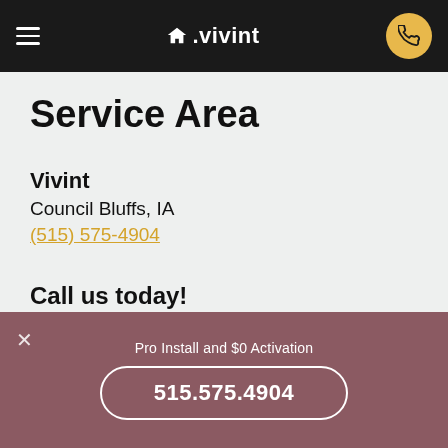Vivint
Service Area
Vivint
Council Bluffs, IA
(515) 575-4904
Call us today!
Mon-Fri   6am-11pm MT
Saturday  9am-9pm MT
Sunday    7am-9pm MT
Pro Install and $0 Activation
515.575.4904